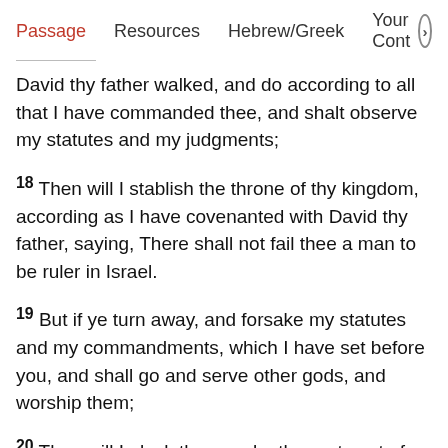Passage   Resources   Hebrew/Greek   Your Cont >
David thy father walked, and do according to all that I have commanded thee, and shalt observe my statutes and my judgments;
18 Then will I stablish the throne of thy kingdom, according as I have covenanted with David thy father, saying, There shall not fail thee a man to be ruler in Israel.
19 But if ye turn away, and forsake my statutes and my commandments, which I have set before you, and shall go and serve other gods, and worship them;
20 Then will I pluck them up by the roots out of my land which I have given them; and this house, which I have sanctified for my name, will I cast out